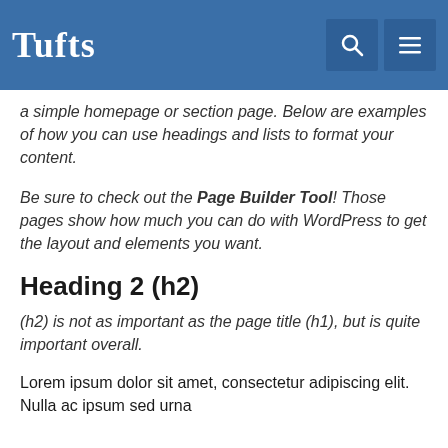Tufts
a simple homepage or section page. Below are examples of how you can use headings and lists to format your content.
Be sure to check out the Page Builder Tool! Those pages show how much you can do with WordPress to get the layout and elements you want.
Heading 2 (h2)
(h2) is not as important as the page title (h1), but is quite important overall.
Lorem ipsum dolor sit amet, consectetur adipiscing elit. Nulla ac ipsum sed urna